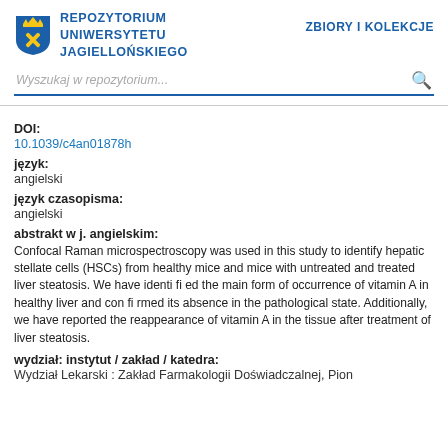REPOZYTORIUM UNIWERSYTETU JAGIELLOŃSKIEGO | ZBIORY I KOLEKCJE
Wyszukaj w repozytorium...
DOI:
10.1039/c4an01878h
język:
angielski
język czasopisma:
angielski
abstrakt w j. angielskim:
Confocal Raman microspectroscopy was used in this study to identify hepatic stellate cells (HSCs) from healthy mice and mice with untreated and treated liver steatosis. We have identi fi ed the main form of occurrence of vitamin A in healthy liver and con fi rmed its absence in the pathological state. Additionally, we have reported the reappearance of vitamin A in the tissue after treatment of liver steatosis.
wydział: instytut / zakład / katedra:
Wydział Lekarski : Zakład Farmakologii Doświadczalnej, Pion